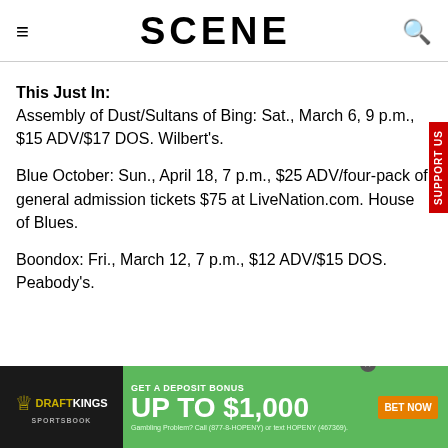SCENE
This Just In:
Assembly of Dust/Sultans of Bing: Sat., March 6, 9 p.m., $15 ADV/$17 DOS. Wilbert's.
Blue October: Sun., April 18, 7 p.m., $25 ADV/four-pack of general admission tickets $75 at LiveNation.com. House of Blues.
Boondox: Fri., March 12, 7 p.m., $12 ADV/$15 DOS. Peabody's.
[Figure (other): DraftKings Sportsbook advertisement banner: GET A DEPOSIT BONUS UP TO $1,000. BET NOW. Gambling Problem? Call (877-8-HOPENY) or text HOPENY (467369).]